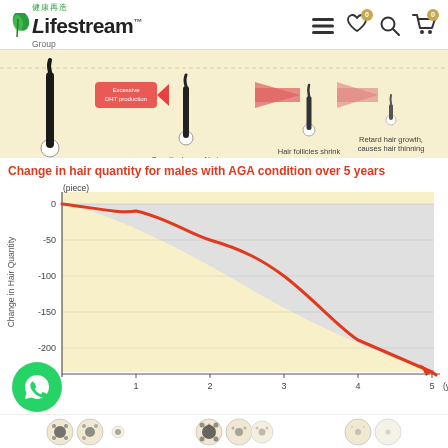Lifestream Group
[Figure (infographic): Hair follicle shrinking diagram showing progressive stages from healthy hair to thinning. Shows: Growth phase of hair follicles is shorten → Hair follicles shrink → Retard hair growth, causes hair thinning. Red arrows labeled 'Excessive DHT production' point between stages.]
Change in hair quantity for males with AGA condition over 5 years
[Figure (line-chart): Change in hair quantity for males with AGA condition over 5 years]
[Figure (infographic): Bottom strip showing 5 circular cross-section diagrams of hair follicles at different stages]